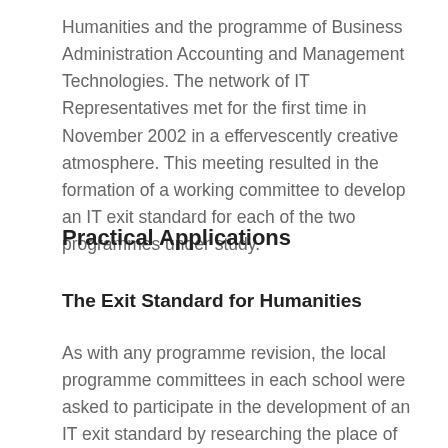Humanities and the programme of Business Administration Accounting and Management Technologies. The network of IT Representatives met for the first time in November 2002 in a effervescently creative atmosphere. This meeting resulted in the formation of a working committee to develop an IT exit standard for each of the two programmes under study.
Practical Applications
The Exit Standard for Humanities
As with any programme revision, the local programme committees in each school were asked to participate in the development of an IT exit standard by researching the place of Information Technology within their programme. With Humanities, this was largely a